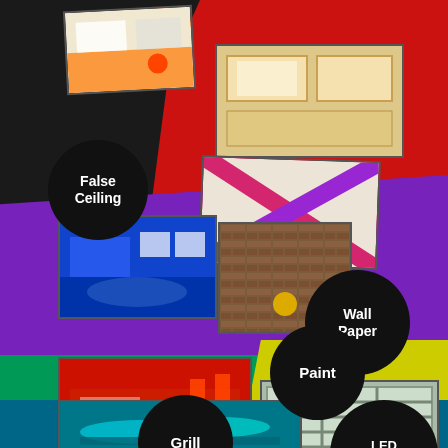[Figure (infographic): Interior design services infographic with colored background sections and photo thumbnails. Labels: False Ceiling, Wall Paper, Paint, Grill, LED Lightining. Photos show false ceiling designs, wallpaper textures, painted rooms, window grills, and LED lighting.]